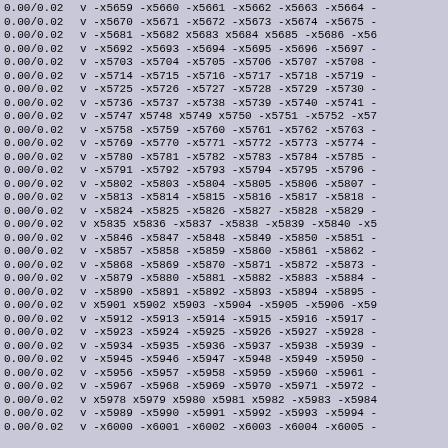| value | expression |
| --- | --- |
| 0.00/0.02 | v -x5659 -x5660 -x5661 -x5662 -x5663 -x5664 - |
| 0.00/0.02 | v -x5670 -x5671 -x5672 -x5673 -x5674 -x5675 - |
| 0.00/0.02 | v -x5681 -x5682 x5683 x5684 x5685 -x5686 -x56 |
| 0.00/0.02 | v -x5692 -x5693 -x5694 -x5695 -x5696 -x5697 - |
| 0.00/0.02 | v -x5703 -x5704 -x5705 -x5706 -x5707 -x5708 - |
| 0.00/0.02 | v -x5714 -x5715 -x5716 -x5717 -x5718 -x5719 - |
| 0.00/0.02 | v -x5725 -x5726 -x5727 -x5728 -x5729 -x5730 - |
| 0.00/0.02 | v -x5736 -x5737 -x5738 -x5739 -x5740 -x5741 - |
| 0.00/0.02 | v -x5747 x5748 x5749 x5750 -x5751 -x5752 -x57 |
| 0.00/0.02 | v -x5758 -x5759 -x5760 -x5761 -x5762 -x5763 - |
| 0.00/0.02 | v -x5769 -x5770 -x5771 -x5772 -x5773 -x5774 - |
| 0.00/0.02 | v -x5780 -x5781 -x5782 -x5783 -x5784 -x5785 - |
| 0.00/0.02 | v -x5791 -x5792 -x5793 -x5794 -x5795 -x5796 - |
| 0.00/0.02 | v -x5802 -x5803 -x5804 -x5805 -x5806 -x5807 - |
| 0.00/0.02 | v -x5813 -x5814 -x5815 -x5816 -x5817 -x5818 - |
| 0.00/0.02 | v -x5824 -x5825 -x5826 -x5827 -x5828 -x5829 - |
| 0.00/0.02 | v x5835 x5836 -x5837 -x5838 -x5839 -x5840 -x5 |
| 0.00/0.02 | v -x5846 -x5847 -x5848 -x5849 -x5850 -x5851 - |
| 0.00/0.02 | v -x5857 -x5858 -x5859 -x5860 -x5861 -x5862 - |
| 0.00/0.02 | v -x5868 -x5869 -x5870 -x5871 -x5872 -x5873 - |
| 0.00/0.02 | v -x5879 -x5880 -x5881 -x5882 -x5883 -x5884 - |
| 0.00/0.02 | v -x5890 -x5891 -x5892 -x5893 -x5894 -x5895 - |
| 0.00/0.02 | v x5901 x5902 x5903 -x5904 -x5905 -x5906 -x59 |
| 0.00/0.02 | v -x5912 -x5913 -x5914 -x5915 -x5916 -x5917 - |
| 0.00/0.02 | v -x5923 -x5924 -x5925 -x5926 -x5927 -x5928 - |
| 0.00/0.02 | v -x5934 -x5935 -x5936 -x5937 -x5938 -x5939 - |
| 0.00/0.02 | v -x5945 -x5946 -x5947 -x5948 -x5949 -x5950 - |
| 0.00/0.02 | v -x5956 -x5957 -x5958 -x5959 -x5960 -x5961 - |
| 0.00/0.02 | v -x5967 -x5968 -x5969 -x5970 -x5971 -x5972 - |
| 0.00/0.02 | v x5978 x5979 x5980 x5981 x5982 -x5983 -x5984 |
| 0.00/0.02 | v -x5989 -x5990 -x5991 -x5992 -x5993 -x5994 - |
| 0.00/0.02 | v -x6000 -x6001 -x6002 -x6003 -x6004 -x6005 - |